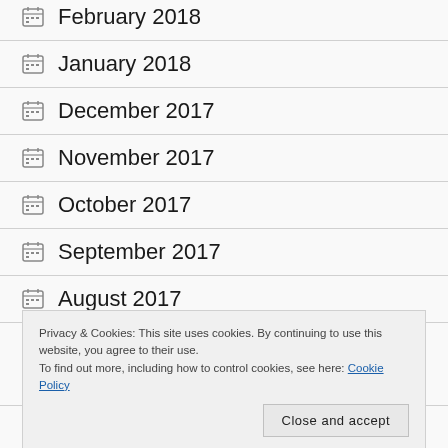January 2018
December 2017
November 2017
October 2017
September 2017
August 2017
Privacy & Cookies: This site uses cookies. By continuing to use this website, you agree to their use. To find out more, including how to control cookies, see here: Cookie Policy
May 2017